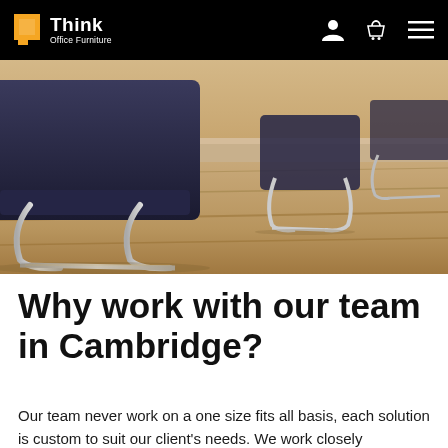Think Office Furniture
[Figure (photo): Close-up photograph of office chairs with chrome cantilever legs and dark upholstered seats, positioned around a light wood table on a wood-effect floor]
Why work with our team in Cambridge?
Our team never work on a one size fits all basis, each solution is custom to suit our client's needs. We work closely